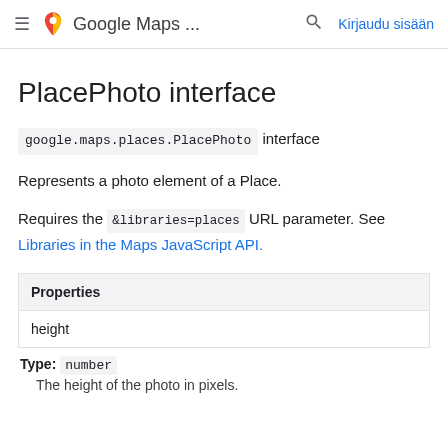≡  Google Maps ...  🔍  Kirjaudu sisään
PlacePhoto interface
google.maps.places.PlacePhoto interface
Represents a photo element of a Place.
Requires the &libraries=places URL parameter. See Libraries in the Maps JavaScript API.
| Properties |
| --- |
| height |
Type: number
The height of the photo in pixels.